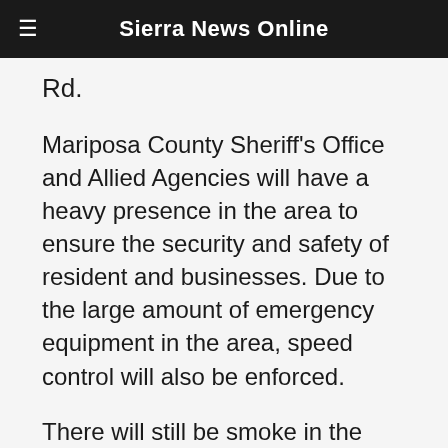Sierra News Online
Rd.
Mariposa County Sheriff’s Office and Allied Agencies will have a heavy presence in the area to ensure the security and safety of resident and businesses. Due to the large amount of emergency equipment in the area, speed control will also be enforced.
There will still be smoke in the respective areas as firefighters continue firefighting operations. If at anytime you feel unsafe, please call 911.
The Mariposa County Health Department has health and safety information for residents returning to their homes on our website at